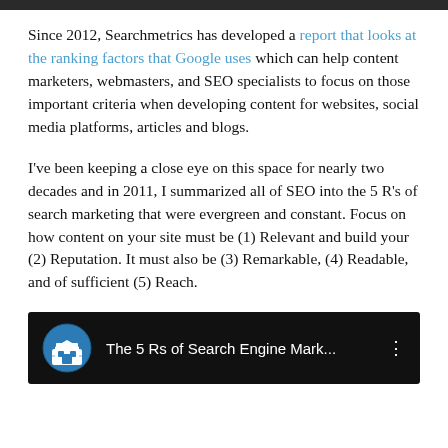Since 2012, Searchmetrics has developed a report that looks at the ranking factors that Google uses which can help content marketers, webmasters, and SEO specialists to focus on those important criteria when developing content for websites, social media platforms, articles and blogs.
I've been keeping a close eye on this space for nearly two decades and in 2011, I summarized all of SEO into the 5 R's of search marketing that were evergreen and constant. Focus on how content on your site must be (1) Relevant and build your (2) Reputation. It must also be (3) Remarkable, (4) Readable, and of sufficient (5) Reach.
[Figure (screenshot): Video thumbnail with dark background showing a circular icon with a storefront/shop symbol and the text 'The 5 Rs of Search Engine Mark...' with a three-dot menu icon]